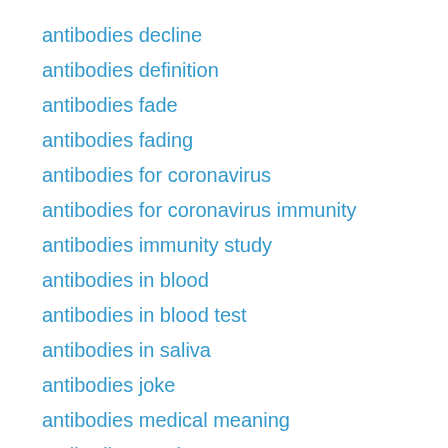antibodies decline
antibodies definition
antibodies fade
antibodies fading
antibodies for coronavirus
antibodies for coronavirus immunity
antibodies immunity study
antibodies in blood
antibodies in blood test
antibodies in saliva
antibodies joke
antibodies medical meaning
antibodies movie
antibodies online
antibodies test